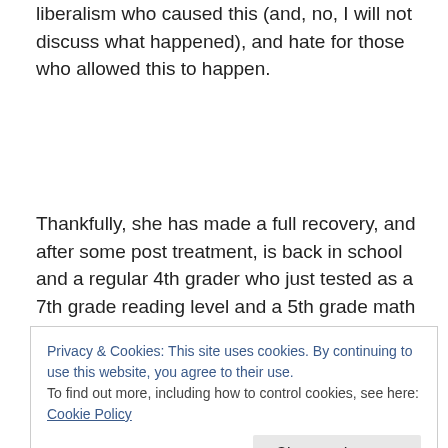liberalism who caused this (and, no, I will not discuss what happened), and hate for those who allowed this to happen.
Thankfully, she has made a full recovery, and after some post treatment, is back in school and a regular 4th grader who just tested as a 7th grade reading level and a 5th grade math & science. She is fine, and I am relieved. But I
Privacy & Cookies: This site uses cookies. By continuing to use this website, you agree to their use.
To find out more, including how to control cookies, see here: Cookie Policy
and my life focus now stresses that I probably limit my